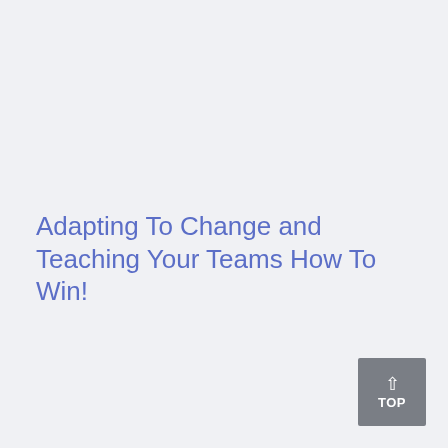Adapting To Change and Teaching Your Teams How To Win!
[Figure (other): A small dark grey button with an upward arrow and the word TOP, positioned in the bottom-right corner.]